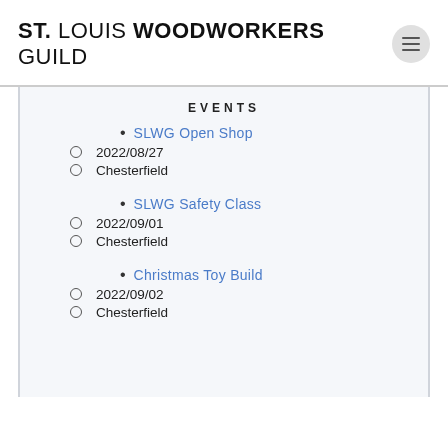ST. LOUIS WOODWORKERS GUILD
EVENTS
SLWG Open Shop
2022/08/27
Chesterfield
SLWG Safety Class
2022/09/01
Chesterfield
Christmas Toy Build
2022/09/02
Chesterfield